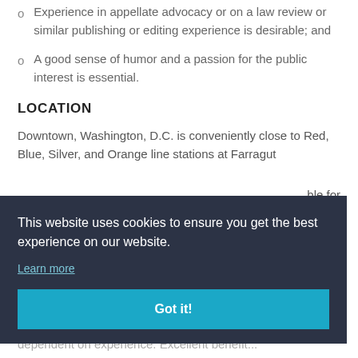Experience in appellate advocacy or on a law review or similar publishing or editing experience is desirable; and
A good sense of humor and a passion for the public interest is essential.
LOCATION
Downtown, Washington, D.C. is conveniently close to Red, Blue, Silver, and Orange line stations at Farragut [...]ble for [...] motely [...]riate
This website uses cookies to ensure you get the best experience on our website. Learn more
Got it!
The salary range is between $120,000 – $150,000, [dependent on experience. Excellent benefits...]